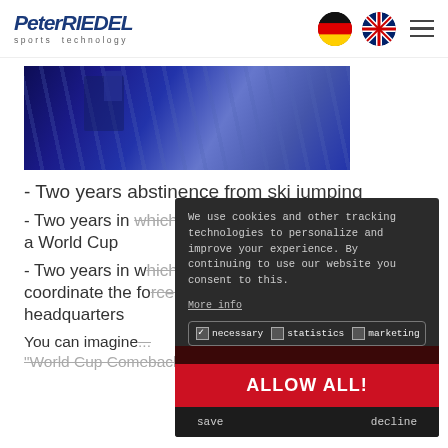Peter RIEDEL sports technology
[Figure (photo): Aerial/overhead view of ski jump equipment, blue metallic structure with a person visible, dark blue tones]
- Two years abstinence from ski jumping
- Two years in which I wasn't personally present at a World Cup
- Two years in which I had to manage and coordinate the forces from the company headquarters
You can imagine... "World Cup Comeback" this weekend in Zakopane!
We use cookies and other tracking technologies to personalize and improve your experience. By continuing to use our website you consent to this. More info
necessary  statistics  marketing
ALLOW ALL!
save  decline